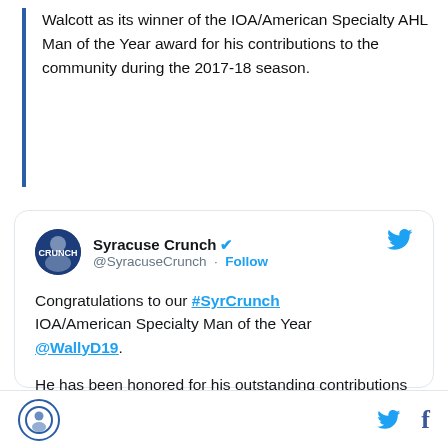Walcott as its winner of the IOA/American Specialty AHL Man of the Year award for his contributions to the community during the 2017-18 season.
[Figure (screenshot): Tweet from @SyracuseCrunch (verified) with Twitter bird icon. Text: Congratulations to our #SyrCrunch IOA/American Specialty Man of the Year @WallyD19. He has been honored for his outstanding contributions to the Syracuse community during the 2017-18 season. → syrcrun.ch/2GE7Lcb]